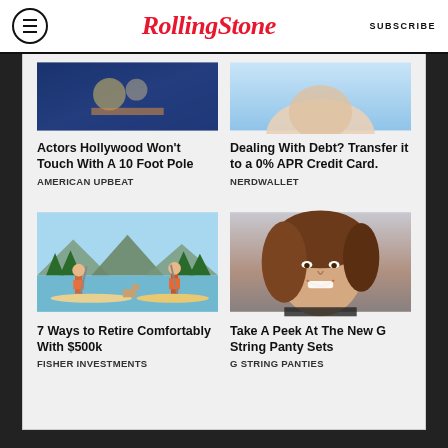RollingStone | SUBSCRIBE
[Figure (photo): Partial photo top-left: Actors Hollywood article image]
Actors Hollywood Won't Touch With A 10 Foot Pole
AMERICAN UPBEAT
[Figure (photo): Partial photo top-right: Dealing With Debt article image, light blue background]
Dealing With Debt? Transfer it to a 0% APR Credit Card.
NERDWALLET
[Figure (illustration): Two people paddle boarding on a lake with a dog, illustrated style with trees and mountains in background]
7 Ways to Retire Comfortably With $500k
FISHER INVESTMENTS
[Figure (photo): Woman with brown hair smiling, photo portrait]
Take A Peek At The New G String Panty Sets
G STRING PANTIES